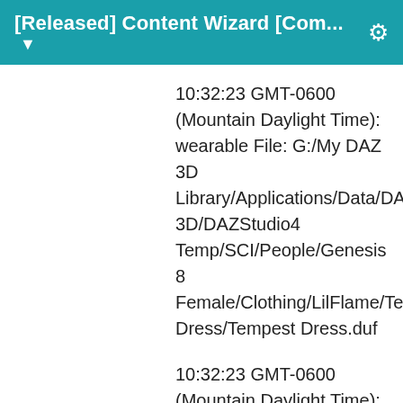[Released] Content Wizard [Com... ▼
10:32:23 GMT-0600 (Mountain Daylight Time): wearable File: G:/My DAZ 3D Library/Applications/Data/DAZ 3D/DAZStudio4 Temp/SCI/People/Genesis 8 Female/Clothing/LilFlame/Tempest Dress/Tempest Dress.duf
10:32:23 GMT-0600 (Mountain Daylight Time): .png File: G:/My DAZ 3D Library/Applications/Data/DAZ 3D/DAZStudio4 Temp/SCI/People/Genesis 8 Female/Clothing/LilFlame/Tempest Dress/Tempest Dress.png